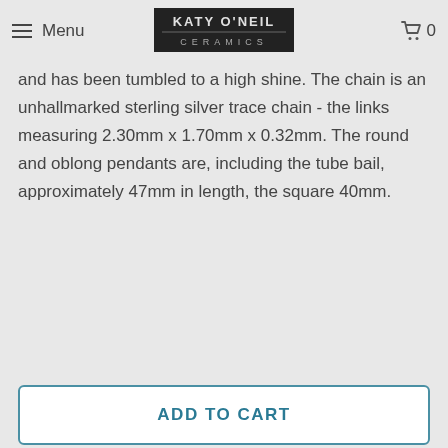Menu | KATY O'NEIL CERAMICS | 0
and has been tumbled to a high shine. The chain is an unhallmarked sterling silver trace chain - the links measuring 2.30mm x 1.70mm x 0.32mm. The round and oblong pendants are, including the tube bail, approximately 47mm in length, the square 40mm.
ADD TO CART